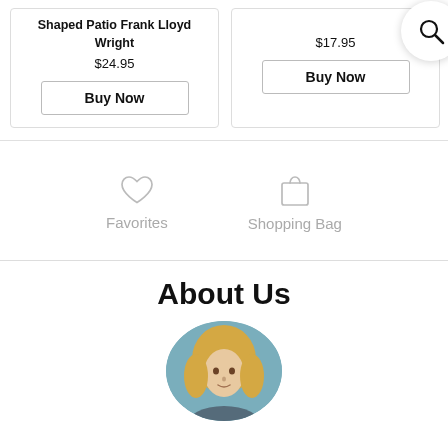Shaped Patio Frank Lloyd Wright
$24.95
Buy Now
$17.95
Buy Now
[Figure (other): Search icon in circular white bubble]
Favorites
Shopping Bag
About Us
[Figure (photo): Circular cropped photo of a blonde woman]